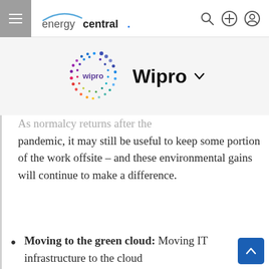energycentral.
[Figure (logo): Wipro colorful dot-circle logo and Wipro text with dropdown chevron]
As normalcy returns after the pandemic, it may still be useful to keep some portion of the work offsite – and these environmental gains will continue to make a difference.
Moving to the green cloud: Moving IT infrastructure to the cloud